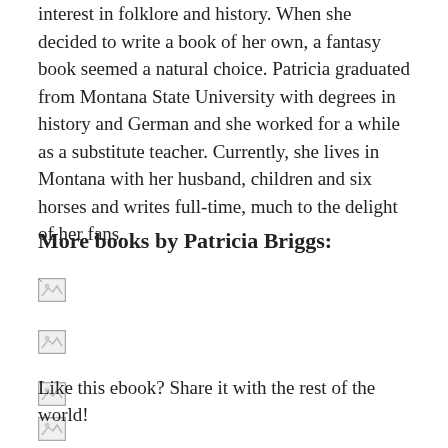interest in folklore and history. When she decided to write a book of her own, a fantasy book seemed a natural choice. Patricia graduated from Montana State University with degrees in history and German and she worked for a while as a substitute teacher. Currently, she lives in Montana with her husband, children and six horses and writes full-time, much to the delight of her fans.
More books by Patricia Briggs:
[Figure (other): Broken image placeholder for a book cover]
[Figure (other): Broken image placeholder for a book cover]
[Figure (other): Broken image placeholder for a book cover]
[Figure (other): Broken image placeholder for a book cover]
Like this ebook? Share it with the rest of the world!